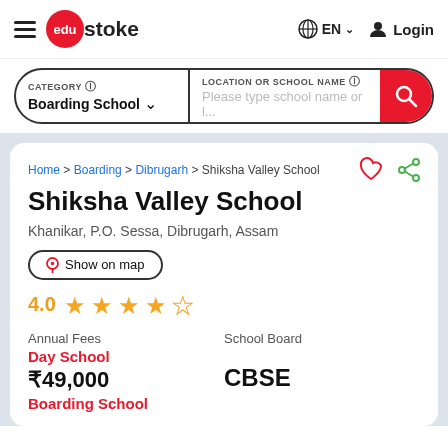edustoke | EN | Login
CATEGORY | Boarding School | LOCATION OR SCHOOL NAME | Please type school name or l...
Home > Boarding > Dibrugarh > Shiksha Valley School
Shiksha Valley School
Khanikar, P.O. Sessa, Dibrugarh, Assam
Show on map
4.0 (4 stars out of 5)
Annual Fees: Day School ₹49,000 | Boarding School | School Board: CBSE